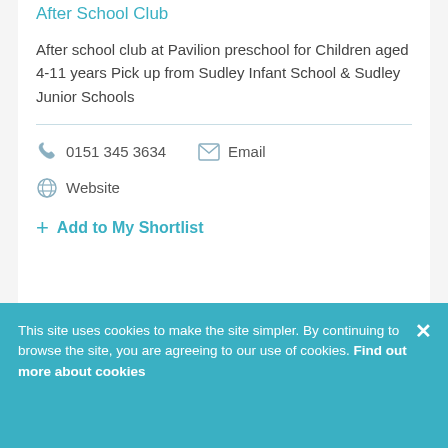After School Club
After school club at Pavilion preschool for Children aged 4-11 years Pick up from Sudley Infant School & Sudley Junior Schools
0151 345 3634   Email   Website
Add to My Shortlist
This site uses cookies to make the site simpler. By continuing to browse the site, you are agreeing to our use of cookies. Find out more about cookies